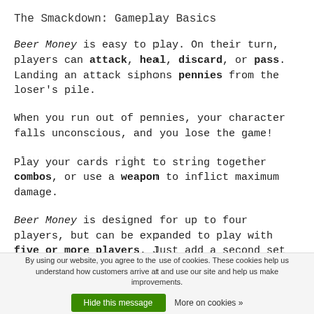The Smackdown: Gameplay Basics
Beer Money is easy to play. On their turn, players can attack, heal, discard, or pass. Landing an attack siphons pennies from the loser's pile.
When you run out of pennies, your character falls unconscious, and you lose the game!
Play your cards right to string together combos, or use a weapon to inflict maximum damage.
Beer Money is designed for up to four players, but can be expanded to play with five or more players. Just add a second set of cards, or reshuffle the discard deck and
By using our website, you agree to the use of cookies. These cookies help us understand how customers arrive at and use our site and help us make improvements. Hide this message  More on cookies »